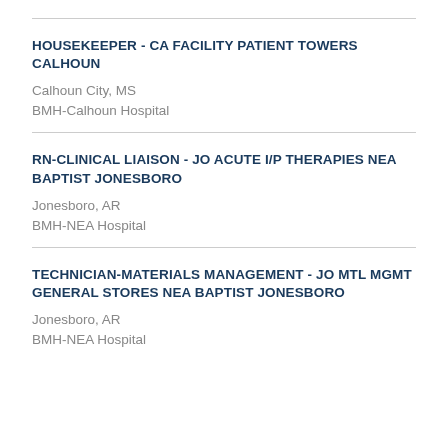HOUSEKEEPER - CA FACILITY PATIENT TOWERS CALHOUN
Calhoun City, MS
BMH-Calhoun Hospital
RN-CLINICAL LIAISON - JO ACUTE I/P THERAPIES NEA BAPTIST JONESBORO
Jonesboro, AR
BMH-NEA Hospital
TECHNICIAN-MATERIALS MANAGEMENT - JO MTL MGMT GENERAL STORES NEA BAPTIST JONESBORO
Jonesboro, AR
BMH-NEA Hospital